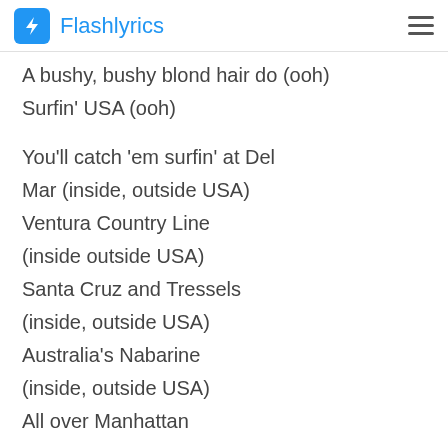Flashlyrics
A bushy, bushy blond hair do (ooh)
Surfin' USA (ooh)
You'll catch 'em surfin' at Del Mar (inside, outside USA)
Ventura Country Line (inside outside USA)
Santa Cruz and Tressels (inside, outside USA)
Australia's Nabarine (inside, outside USA)
All over Manhattan